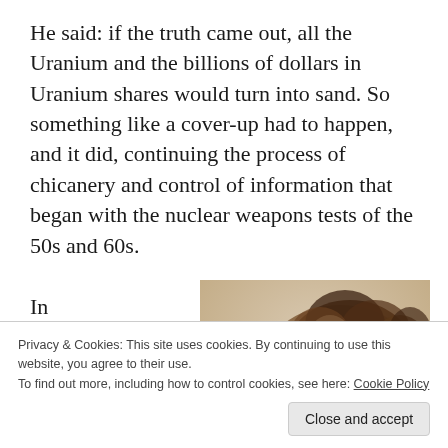He said: if the truth came out, all the Uranium and the billions of dollars in Uranium shares would turn into sand. So something like a cover-up had to happen, and it did, continuing the process of chicanery and control of information that began with the nuclear weapons tests of the 50s and 60s.
In 1959, as the
[Figure (photo): Sepia-toned photograph of a nuclear explosion mushroom cloud with large dark billowing smoke clouds against a light sky.]
Privacy & Cookies: This site uses cookies. By continuing to use this website, you agree to their use.
To find out more, including how to control cookies, see here: Cookie Policy
Close and accept